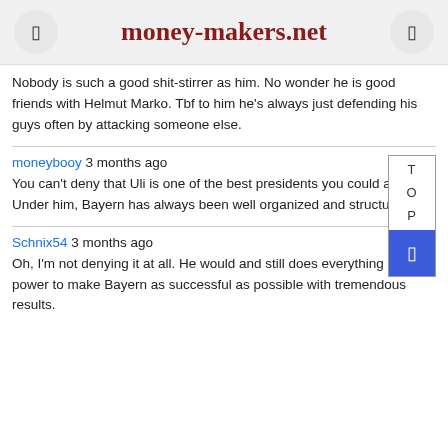money-makers.net
Nobody is such a good shit-stirrer as him. No wonder he is good friends with Helmut Marko. Tbf to him he's always just defending his guys often by attacking someone else.
moneybooy 3 months ago
You can't deny that Uli is one of the best presidents you could ask for. Under him, Bayern has always been well organized and structured
Schnix54 3 months ago
Oh, I'm not denying it at all. He would and still does everything in his power to make Bayern as successful as possible with tremendous results.